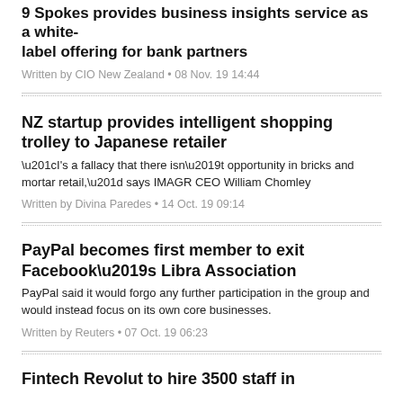9 Spokes provides business insights service as a white-label offering for bank partners
Written by CIO New Zealand • 08 Nov. 19 14:44
NZ startup provides intelligent shopping trolley to Japanese retailer
“I's a fallacy that there isn’t opportunity in bricks and mortar retail,” says IMAGR CEO William Chomley
Written by Divina Paredes • 14 Oct. 19 09:14
PayPal becomes first member to exit Facebook’s Libra Association
PayPal said it would forgo any further participation in the group and would instead focus on its own core businesses.
Written by Reuters • 07 Oct. 19 06:23
Fintech Revolut to hire 3500 staff in